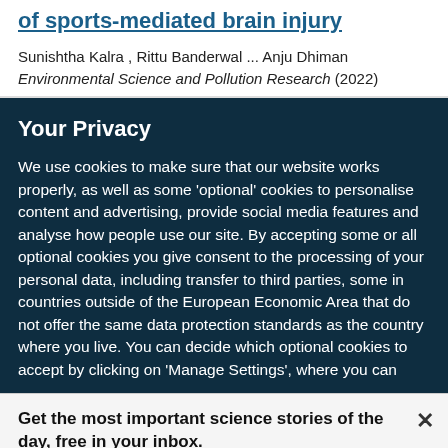of sports-mediated brain injury
Sunishtha Kalra , Rittu Banderwal ... Anju Dhiman
Environmental Science and Pollution Research (2022)
Your Privacy
We use cookies to make sure that our website works properly, as well as some ‘optional’ cookies to personalise content and advertising, provide social media features and analyse how people use our site. By accepting some or all optional cookies you give consent to the processing of your personal data, including transfer to third parties, some in countries outside of the European Economic Area that do not offer the same data protection standards as the country where you live. You can decide which optional cookies to accept by clicking on ‘Manage Settings’, where you can
Get the most important science stories of the day, free in your inbox.
Sign up for Nature Briefing